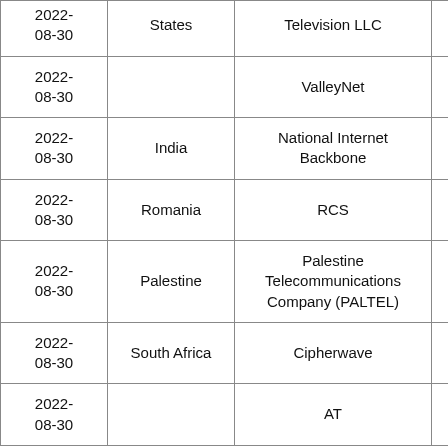| Date | Country | Provider | Value |
| --- | --- | --- | --- |
| 2022-08-30 | States | Television LLC | 37.0 |
| 2022-08-30 |  | ValleyNet | 30.0 |
| 2022-08-30 | India | National Internet Backbone | 530 |
| 2022-08-30 | Romania | RCS | 223 |
| 2022-08-30 | Palestine | Palestine Telecommunications Company (PALTEL) | 287 |
| 2022-08-30 | South Africa | Cipherwave | 470 |
| 2022-08-30 |  | AT | 81.0 |